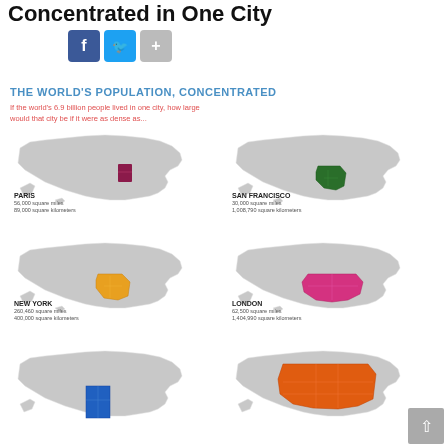Concentrated in One City
THE WORLD'S POPULATION, CONCENTRATED
If the world's 6.9 billion people lived in one city, how large would that city be if it were as dense as...
[Figure (map): Map of USA with dark red highlighted region (Arkansas/Mississippi area) representing Paris density]
PARIS
56,000 square miles
89,000 square kilometers
[Figure (map): Map of USA with dark green highlighted region (Texas area) representing San Francisco density]
SAN FRANCISCO
30,000 square miles
1,008,790 square kilometers
[Figure (map): Map of USA with yellow/gold highlighted region (Texas area) representing New York density]
NEW YORK
260,460 square miles
400,000 square kilometers
[Figure (map): Map of USA with pink/magenta highlighted region (Southern states area) representing London density]
LONDON
62,500 square miles
1,404,990 square kilometers
[Figure (map): Map of USA with blue highlighted region (Utah/Colorado area)]
[Figure (map): Map of USA with orange highlighted region (large central/southern states area)]